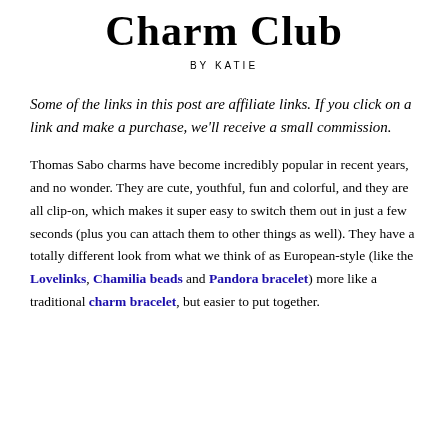Charm Club
BY KATIE
Some of the links in this post are affiliate links. If you click on a link and make a purchase, we'll receive a small commission.
Thomas Sabo charms have become incredibly popular in recent years, and no wonder. They are cute, youthful, fun and colorful, and they are all clip-on, which makes it super easy to switch them out in just a few seconds (plus you can attach them to other things as well). They have a totally different look from what we think of as European-style (like the Lovelinks, Chamilia beads and Pandora bracelet) more like a traditional charm bracelet, but easier to put together.